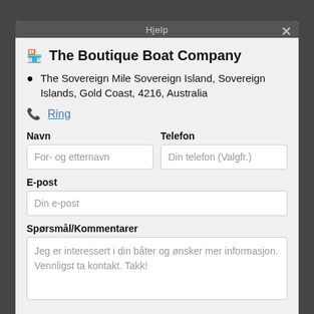Hjelp
The Boutique Boat Company
The Sovereign Mile Sovereign Island, Sovereign Islands, Gold Coast, 4216, Australia
Ring
Navn
For- og etternavn
Telefon
Din telefon (Valgfr.)
E-post
Din e-post
Spørsmål/Kommentarer
Jeg er interessert i din båter og ønsker mer informasjon. Vennligst ta kontakt. Takk!
Kontakt selgeren